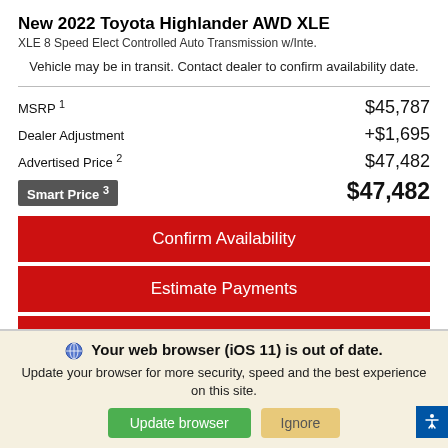New 2022 Toyota Highlander AWD XLE
XLE 8 Speed Elect Controlled Auto Transmission w/Inte.
Vehicle may be in transit. Contact dealer to confirm availability date.
| Item | Price |
| --- | --- |
| MSRP 1 | $45,787 |
| Dealer Adjustment | +$1,695 |
| Advertised Price 2 | $47,482 |
| Smart Price 3 | $47,482 |
Confirm Availability
Estimate Payments
Your web browser (iOS 11) is out of date. Update your browser for more security, speed and the best experience on this site.
Update browser
Ignore